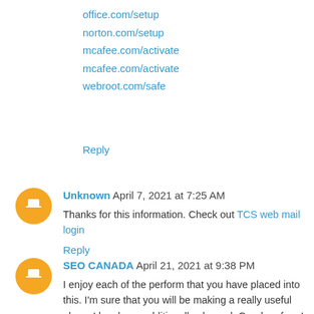office.com/setup
norton.com/setup
mcafee.com/activate
mcafee.com/activate
webroot.com/safe
Reply
Unknown  April 7, 2021 at 7:25 AM
Thanks for this information. Check out TCS web mail login
Reply
SEO CANADA  April 21, 2021 at 9:38 PM
I enjoy each of the perform that you have placed into this. I'm sure that you will be making a really useful place. I has been additionally pleased. Good perform! 🙏🙏🙏🙏
Reply